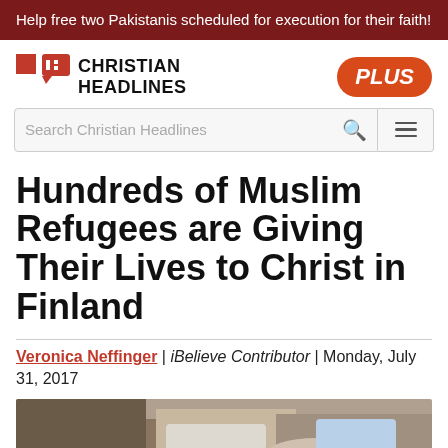Help free two Pakistanis scheduled for execution for their faith!
[Figure (logo): Christian Headlines logo with red bracket icon and bold text, plus a red PLUS badge on the right]
[Figure (screenshot): Search bar with placeholder text 'Search Christian Headlines' and a hamburger menu button]
Hundreds of Muslim Refugees are Giving Their Lives to Christ in Finland
Veronica Neffinger | iBelieve Contributor | Monday, July 31, 2017
[Figure (photo): Photo of people sitting together, partially visible at the bottom of the page]